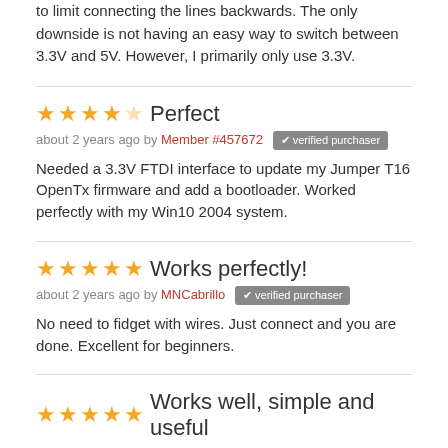to limit connecting the lines backwards. The only downside is not having an easy way to switch between 3.3V and 5V. However, I primarily only use 3.3V.
★★★★☆ Perfect
about 2 years ago by Member #457672 ✔ verified purchaser
Needed a 3.3V FTDI interface to update my Jumper T16 OpenTx firmware and add a bootloader. Worked perfectly with my Win10 2004 system.
★★★★★ Works perfectly!
about 2 years ago by MNCabrillo ✔ verified purchaser
No need to fidget with wires. Just connect and you are done. Excellent for beginners.
★★★★★ Works well, simple and useful